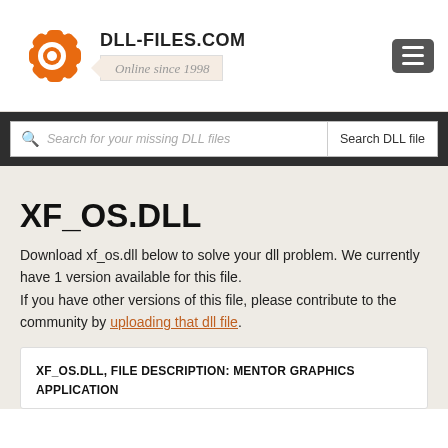DLL-FILES.COM — Online since 1998
Search for your missing DLL files
XF_OS.DLL
Download xf_os.dll below to solve your dll problem. We currently have 1 version available for this file. If you have other versions of this file, please contribute to the community by uploading that dll file.
XF_OS.DLL, FILE DESCRIPTION: MENTOR GRAPHICS APPLICATION